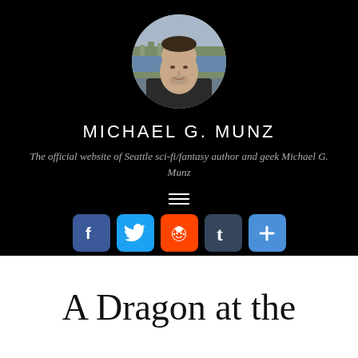[Figure (photo): Circular cropped profile photo of Michael G. Munz, a man with short dark hair and facial stubble, wearing a dark shirt, with a hillside town visible in the background.]
MICHAEL G. MUNZ
The official website of Seattle sci-fi/fantasy author and geek Michael G. Munz
[Figure (other): Hamburger menu icon — three horizontal white lines on black background]
[Figure (infographic): Row of social sharing icons: Facebook (blue f), Twitter (blue bird), Reddit (orange alien), Tumblr (dark t), and a plus/more button (blue +)]
A Dragon at the